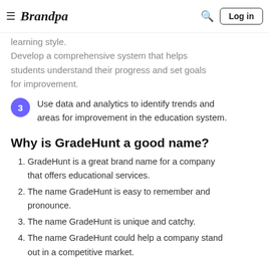Brandpa  Log in
learning style. Develop a comprehensive system that helps students understand their progress and set goals for improvement.
Use data and analytics to identify trends and areas for improvement in the education system.
Why is GradeHunt a good name?
GradeHunt is a great brand name for a company that offers educational services.
The name GradeHunt is easy to remember and pronounce.
The name GradeHunt is unique and catchy.
The name GradeHunt could help a company stand out in a competitive market.